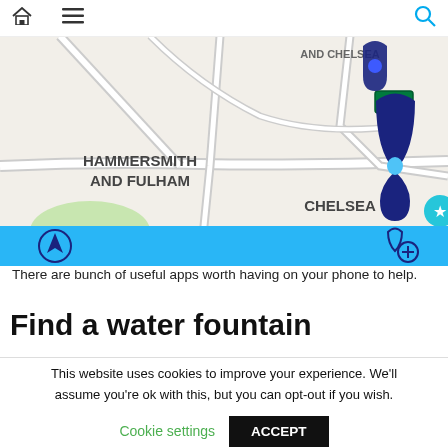[home icon] [menu icon] [search icon]
[Figure (map): Street map showing Hammersmith and Fulham, Chelsea, and Kensington and Chelsea areas of London with water fountain location markers and a blue toolbar with navigation and add fountain icons]
There are bunch of useful apps worth having on your phone to help.
Find a water fountain
This website uses cookies to improve your experience. We'll assume you're ok with this, but you can opt-out if you wish.
Cookie settings   ACCEPT